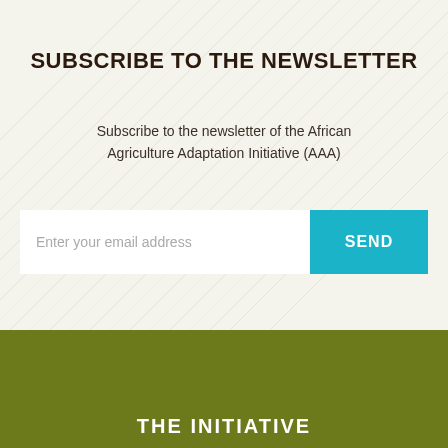SUBSCRIBE TO THE NEWSLETTER
Subscribe to the newsletter of the African Agriculture Adaptation Initiative (AAA)
Enter your email address
SEND
THE INITIATIVE